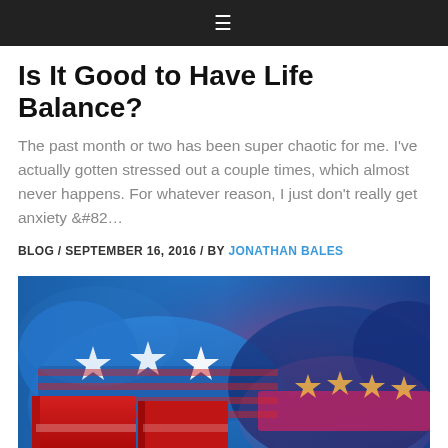≡
Is It Good to Have Life Balance?
The past month or two has been super chaotic for me. I've actually gotten stressed out a couple times, which almost never happens. For whatever reason, I just don't really get anxiety &#82…
BLOG / SEPTEMBER 16, 2016 / BY JONATHAN BALES
[Figure (photo): Political illustration showing Republican elephant and Democrat donkey symbols with stars and red-white-blue colors and large red letters in the foreground]